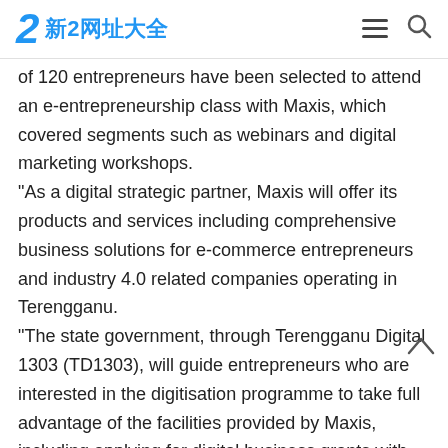新2网址大全
of 120 entrepreneurs have been selected to attend an e-entrepreneurship class with Maxis, which covered segments such as webinars and digital marketing workshops. "As a digital strategic partner, Maxis will offer its products and services including comprehensive business solutions for e-commerce entrepreneurs and industry 4.0 related companies operating in Terengganu. "The state government, through Terengganu Digital 1303 (TD1303), will guide entrepreneurs who are interested in the digitisation programme to take full advantage of the facilities provided by Maxis, including applying for digital business grants with various attractive packages," he told reporters after officiating the launching ceremony of the Maxis and TD1303...